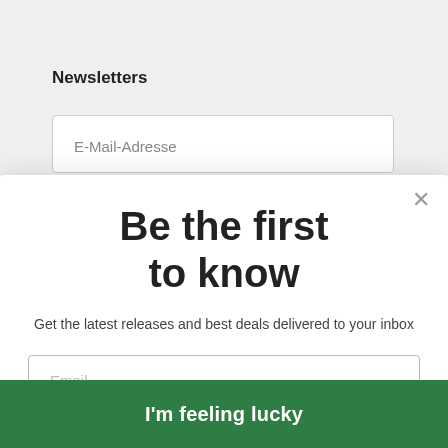Newsletters
E-Mail-Adresse
Be the first to know
Get the latest releases and best deals delivered to your inbox
Email
I'm feeling lucky